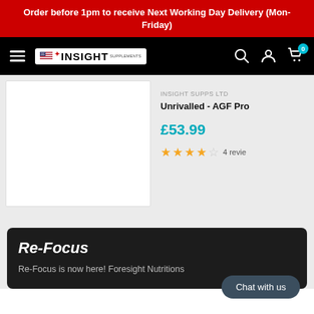Order before 1pm to receive Next Working Day Delivery (Mon-Friday)
[Figure (logo): Insight Supplements Ltd logo with navigation bar on black background, hamburger menu, search, account and cart icons]
INSIGHT SUPPS LTD
Unrivalled - AGF Pro
£53.99
4 reviews, 3.5 stars rating
Re-Focus
Re-Focus is now here! Foresight Nutritions